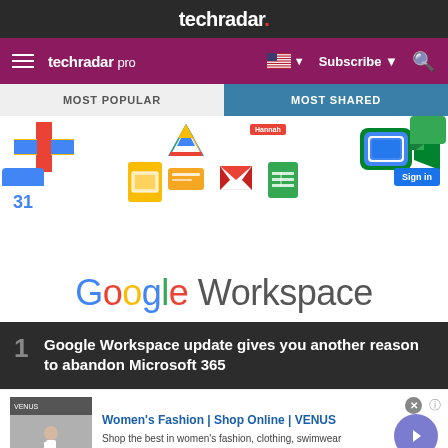techradar.
[Figure (screenshot): TechRadar Pro navigation bar with hamburger menu, techradar pro logo, US flag dropdown, Subscribe button, and search icon on purple background]
[Figure (screenshot): Google Workspace promotional image showing Google Workspace logo and various Google app icons including Drive, Meet, Calendar, Slides, Gmail, Sheets, and Chat on white background with MOST POPULAR and MOST SHARED tabs above]
1  Google Workspace update gives you another reason to abandon Microsoft 365
[Figure (screenshot): Advertisement for Women's Fashion | Shop Online | VENUS showing a fashion website screenshot with a woman in white clothing]
Women's Fashion | Shop Online | VENUS
Shop the best in women's fashion, clothing, swimwear
venus.com